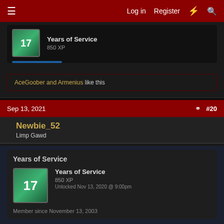≡   Log in   Register   ⚡   🔍
[Figure (screenshot): Partial badge card showing 'Years of Service' with number 17, badge title and 850 XP]
AceGoober and Armenius like this
Sep 13, 2021   #20
Newbie_52
Limp Gawd
Years of Service
[Figure (screenshot): Badge icon showing number 17 on green background]
Years of Service
850 XP
Unlocked Nov 13, 2020 @ 9:00pm
Member since November 13, 2003